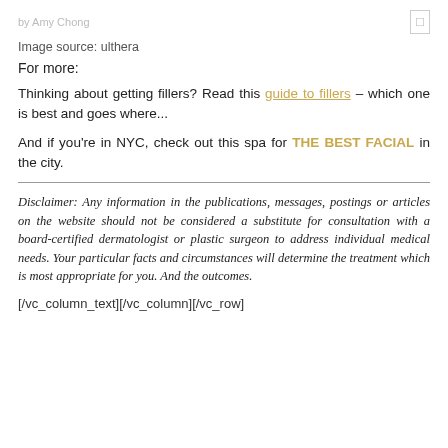by Amy Chong
Image source: ulthera
For more:
Thinking about getting fillers? Read this guide to fillers – which one is best and goes where...
And if you're in NYC, check out this spa for THE BEST FACIAL in the city.
Disclaimer: Any information in the publications, messages, postings or articles on the website should not be considered a substitute for consultation with a board-certified dermatologist or plastic surgeon to address individual medical needs. Your particular facts and circumstances will determine the treatment which is most appropriate for you. And the outcomes.
[/vc_column_text][/vc_column][/vc_row]